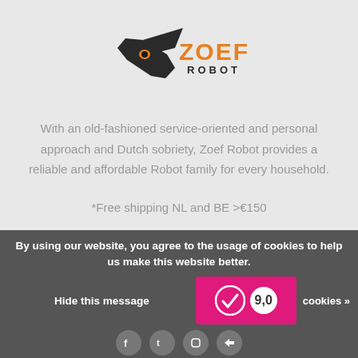[Figure (logo): Zoef Robot logo with stylized bird/robot head in dark grey and orange text reading ZOEF ROBOT]
With an old-fashioned service-oriented and personal approach and Dutch sobriety, Zoef Robot provides a reliable and affordable Robot family for every household.
*Free shipping NL and BE >€150
Telephone +31 (0)6 30407787
Email Service@zoetrobot.nl
By using our website, you agree to the usage of cookies to help us make this website better.
Hide this message
cookies »